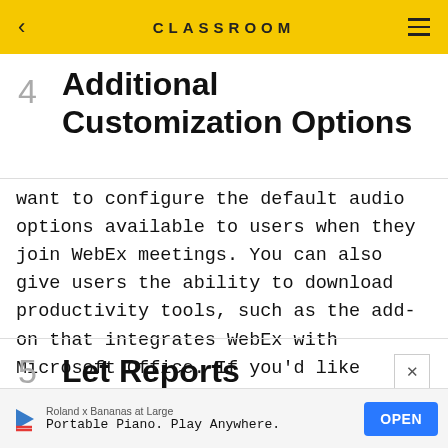CLASSROOM
4  Additional Customization Options
want to configure the default audio options available to users when they join WebEx meetings. You can also give users the ability to download productivity tools, such as the add-on that integrates WebEx with Microsoft Office. If you'd like people to have text messaging capabilities, you can enable that feature too.
5  Let Reports Enlighten You